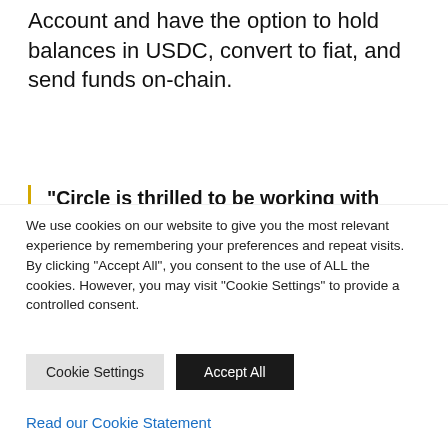Account and have the option to hold balances in USDC, convert to fiat, and send funds on-chain.
"Circle is thrilled to be working with Solana to simplify and adapt USDC payments for
We use cookies on our website to give you the most relevant experience by remembering your preferences and repeat visits. By clicking “Accept All”, you consent to the use of ALL the cookies. However, you may visit “Cookie Settings” to provide a controlled consent.
Cookie Settings | Accept All
Read our Cookie Statement